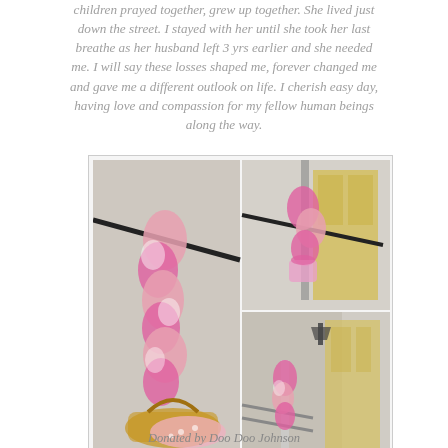children prayed together, grew up together. She lived just down the street. I stayed with her until she took her last breathe as her husband left 3 yrs earlier and she needed me. I will say these losses shaped me, forever changed me and gave me a different outlook on life. I cherish easy day, having love and compassion for my fellow human beings along the way.
[Figure (photo): Collage of three photos showing pink and white fluffy floral/feather decorations hanging over a railing and a wicker basket with a pink polka-dot blanket, set against a stone building exterior with a yellow door.]
Donated by Doo Doo Johnson